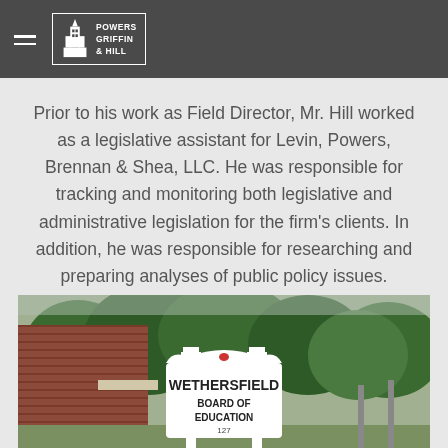Powers Griffin & Hill
Prior to his work as Field Director, Mr. Hill worked as a legislative assistant for Levin, Powers, Brennan & Shea, LLC. He was responsible for tracking and monitoring both legislative and administrative legislation for the firm's clients. In addition, he was responsible for researching and preparing analyses of public policy issues.
[Figure (photo): Outdoor photograph of a white sign reading 'WETHERSFIELD BOARD OF EDUCATION 127' mounted between white fence posts, in front of a brick building and trees.]